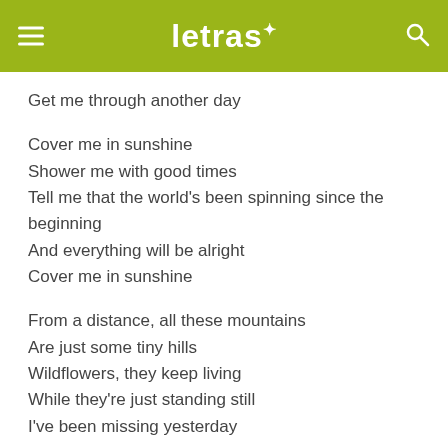letras
Get me through another day
Cover me in sunshine
Shower me with good times
Tell me that the world's been spinning since the beginning
And everything will be alright
Cover me in sunshine
From a distance, all these mountains
Are just some tiny hills
Wildflowers, they keep living
While they're just standing still
I've been missing yesterday